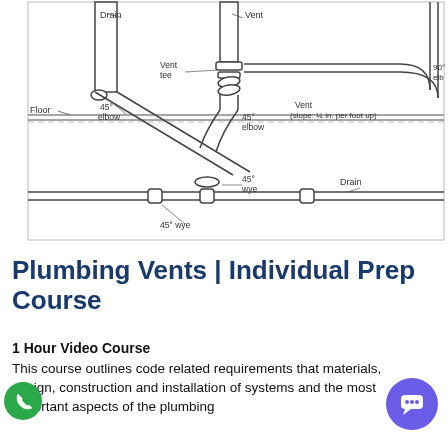[Figure (engineering-diagram): Plumbing vent diagram showing drain pipes, vent pipes, floor level, 45-degree elbows, 45-degree wyes, vent tee, 90-degree elbow, and horizontal drain with labels: Drain, Vent, Floor, Vent tee, 45° elbow, 45° elbow, 45° wye, 45° wye, Vent (slope: ¼ in. per foot up), Drain, 90° elbow]
Plumbing Vents | Individual Prep Course
1 Hour Video Course
This course outlines code related requirements that materials, design, construction and installation of systems and the most important aspects of the plumbing